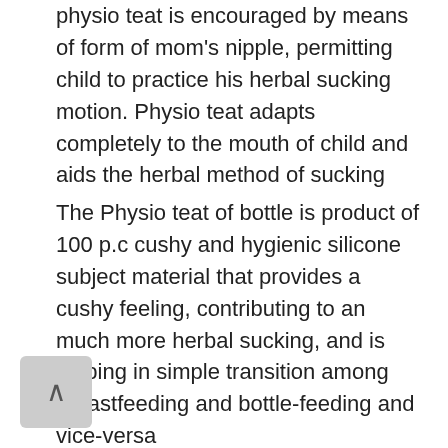physio teat is encouraged by means of form of mom's nipple, permitting child to practice his herbal sucking motion. Physio teat adapts completely to the mouth of child and aids the herbal method of sucking
The Physio teat of bottle is product of 100 p.c cushy and hygienic silicone subject material that provides a cushy feeling, contributing to an much more herbal sucking, and is helping in simple transition among breastfeeding and bottle-feeding and vice-versa
Protected and Leak Evidence: At Chicco, child's protection is our precedence, Therefore Neatly-Being bottles are made with BPA-loose polypropylene subject material to verify most coverage and hygiene. Drip Evidence cap and bottle ensure...